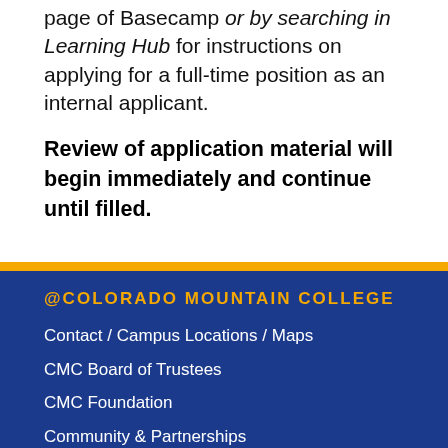page of Basecamp or by searching in Learning Hub for instructions on applying for a full-time position as an internal applicant.
Review of application material will begin immediately and continue until filled.
@COLORADO MOUNTAIN COLLEGE
Contact / Campus Locations / Maps
CMC Board of Trustees
CMC Foundation
Community & Partnerships